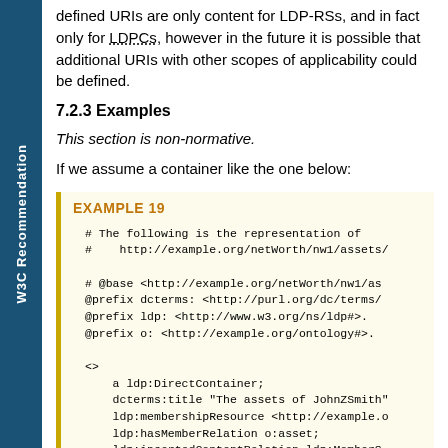W3C Recommendation
defined URIs are only content for LDP-RSs, and in fact only for LDPCs, however in the future it is possible that additional URIs with other scopes of applicability could be defined.
7.2.3 Examples
This section is non-normative.
If we assume a container like the one below:
EXAMPLE 19
# The following is the representation of
#    http://example.org/netWorth/nw1/assets/

# @base <http://example.org/netWorth/nw1/as
@prefix dcterms: <http://purl.org/dc/terms/
@prefix ldp: <http://www.w3.org/ns/ldp#>.
@prefix o: <http://example.org/ontology#>.

<>
    a ldp:DirectContainer;
    dcterms:title "The assets of JohnZSmith"
    ldp:membershipResource <http://example.o
    ldp:hasMemberRelation o:asset;
    ldp:insertedContentRelation ldp:MemberS